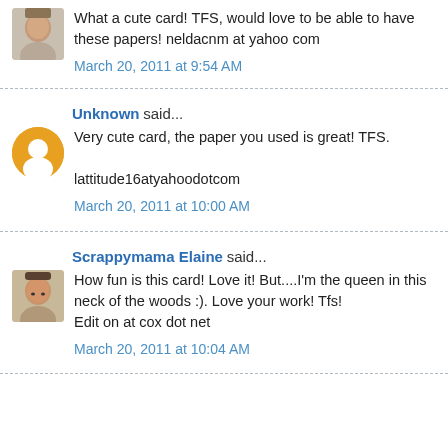What a cute card! TFS, would love to be able to have these papers! neldacnm at yahoo com
March 20, 2011 at 9:54 AM
Unknown said...
Very cute card, the paper you used is great! TFS.

lattitude16atyahoodotcom
March 20, 2011 at 10:00 AM
Scrappymama Elaine said...
How fun is this card! Love it! But....I'm the queen in this neck of the woods :). Love your work! Tfs!
Edit on at cox dot net
March 20, 2011 at 10:04 AM